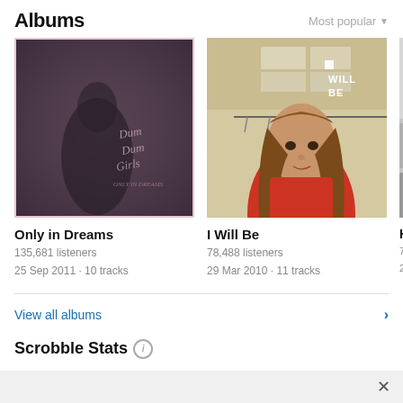Albums
Most popular
[Figure (photo): Album cover for 'Only in Dreams' - dark purple/grey toned image of a person with cursive text overlay]
Only in Dreams
135,681 listeners
25 Sep 2011 · 10 tracks
[Figure (photo): Album cover for 'I Will Be' - photo of a young woman with long brown hair in a red outfit, standing in a room with shelves]
I Will Be
78,488 listeners
29 Mar 2010 · 11 tracks
[Figure (photo): Partially visible third album cover, greyscale/light tones, partially cropped]
He C
74,11
28 Fe
View all albums
Scrobble Stats